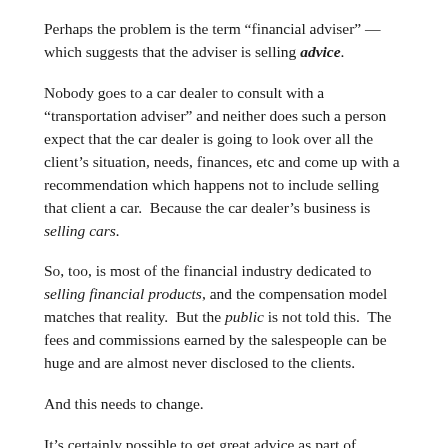Perhaps the problem is the term “financial adviser” — which suggests that the adviser is selling advice.
Nobody goes to a car dealer to consult with a “transportation adviser” and neither does such a person expect that the car dealer is going to look over all the client’s situation, needs, finances, etc and come up with a recommendation which happens not to include selling that client a car.  Because the car dealer’s business is selling cars.
So, too, is most of the financial industry dedicated to selling financial products, and the compensation model matches that reality.  But the public is not told this.  The fees and commissions earned by the salespeople can be huge and are almost never disclosed to the clients.
And this needs to change.
It’s certainly possible to get great advice as part of someone selling you a product.  But given the choice, wouldn’t you prefer to know that the advice you are being given is independent of the